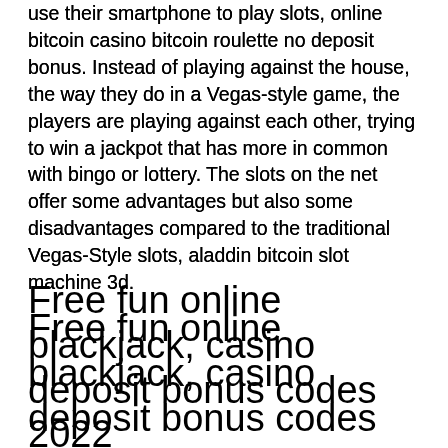use their smartphone to play slots, online bitcoin casino bitcoin roulette no deposit bonus. Instead of playing against the house, the way they do in a Vegas-style game, the players are playing against each other, trying to win a jackpot that has more in common with bingo or lottery. The slots on the net offer some advantages but also some disadvantages compared to the traditional Vegas-Style slots, aladdin bitcoin slot machine 3d.
Free fun online blackjack, casino deposit bonus codes 2022
The work like 3-reel slot games, but they have more symbols. Also, these types of slots have more bonus rounds, free spins, multipliers, and betting options. Bonus